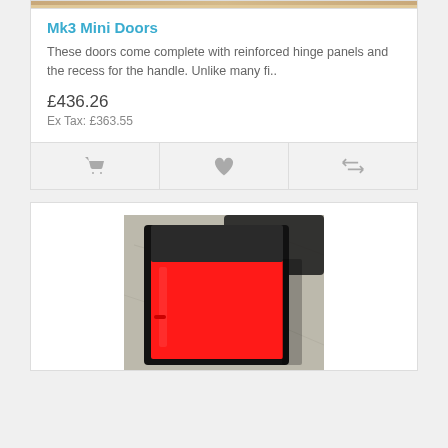[Figure (photo): Top strip showing partial product photo (tan/beige background)]
Mk3 Mini Doors
These doors come complete with reinforced hinge panels and the recess for the handle. Unlike many fi..
£436.26
Ex Tax: £363.55
[Figure (photo): Photo of a red Mini car door lying on concrete ground, with black window frame surround]
[Figure (photo): Second product card showing red mini door photo]